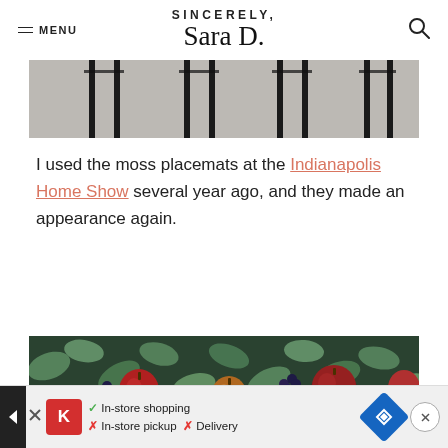SINCERELY, Sara D.
[Figure (photo): Bottom of black chair legs on a gray rug, cropped photo strip]
I used the moss placemats at the Indianapolis Home Show several year ago, and they made an appearance again.
[Figure (photo): Close-up of a table centerpiece with eucalyptus leaves, red/yellow pears, apples, and dark berries on moss]
[Figure (other): Advertisement bar: Kroger store services - In-store shopping (check), In-store pickup (X), Delivery (X)]